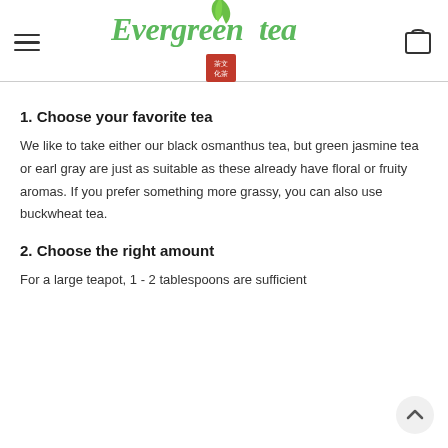Evergreen Tea
1. Choose your favorite tea
We like to take either our black osmanthus tea, but green jasmine tea or earl gray are just as suitable as these already have floral or fruity aromas. If you prefer something more grassy, you can also use buckwheat tea.
2. Choose the right amount
For a large teapot, 1 - 2 tablespoons are sufficient